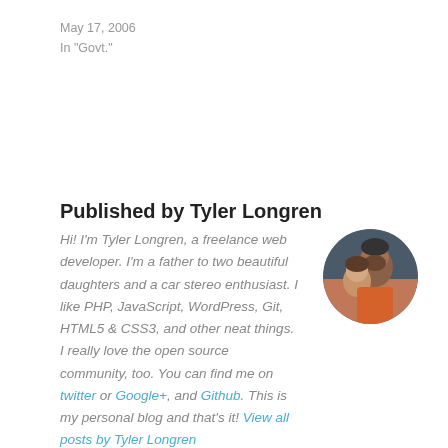May 17, 2006
In "Govt."
Published by Tyler Longren
Hi! I'm Tyler Longren, a freelance web developer. I'm a father to two beautiful daughters and a car stereo enthusiast. I like PHP, JavaScript, WordPress, Git, HTML5 & CSS3, and other neat things. I really love the open source community, too. You can find me on twitter or Google+, and Github. This is my personal blog and that's it! View all posts by Tyler Longren
[Figure (photo): Circular profile photo of Tyler Longren with another person, both smiling]